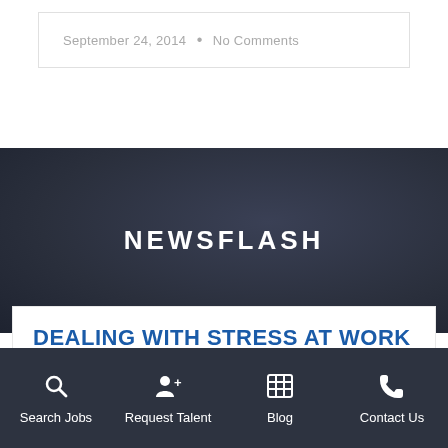September 24, 2014  •  No Comments
NEWSFLASH
DEALING WITH STRESS AT WORK
May 28, 2020
Identify Your Stress Triggers Your personality, experiences and other unique characteristics all influence the way you respond to
Search Jobs  Request Talent  Blog  Contact Us